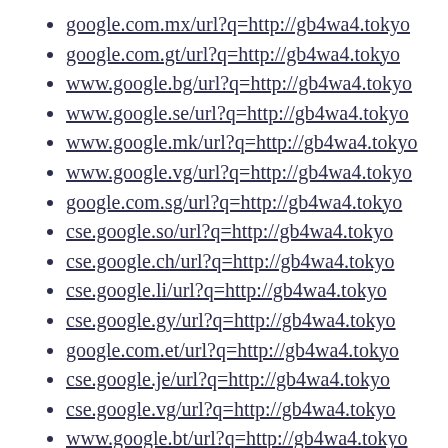google.com.mx/url?q=http://gb4wa4.tokyo
google.com.gt/url?q=http://gb4wa4.tokyo
www.google.bg/url?q=http://gb4wa4.tokyo
www.google.se/url?q=http://gb4wa4.tokyo
www.google.mk/url?q=http://gb4wa4.tokyo
www.google.vg/url?q=http://gb4wa4.tokyo
google.com.sg/url?q=http://gb4wa4.tokyo
cse.google.so/url?q=http://gb4wa4.tokyo
cse.google.ch/url?q=http://gb4wa4.tokyo
cse.google.li/url?q=http://gb4wa4.tokyo
cse.google.gy/url?q=http://gb4wa4.tokyo
google.com.et/url?q=http://gb4wa4.tokyo
cse.google.je/url?q=http://gb4wa4.tokyo
cse.google.vg/url?q=http://gb4wa4.tokyo
www.google.bt/url?q=http://gb4wa4.tokyo
cse.google.dk/url?q=http://gb4wa4.tokyo
cse.google.tg/url?q=http://gb4wa4.tokyo
www.google.md/url?q=http://gb4wa4.tokyo
www.google.ae/url?q=http://gb4wa4.tokyo